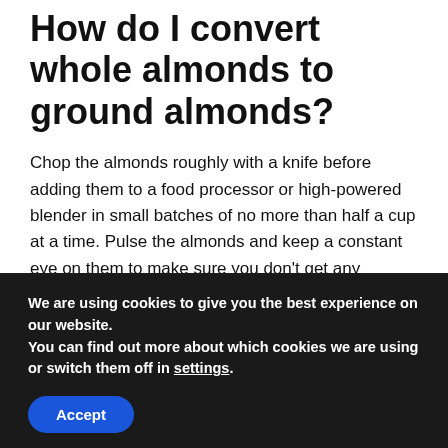How do I convert whole almonds to ground almonds?
Chop the almonds roughly with a knife before adding them to a food processor or high-powered blender in small batches of no more than half a cup at a time. Pulse the almonds and keep a constant eye on them to make sure you don't get any clumps. Pulse repeatedly until the almonds are ground to a fine powder.
Do almonds help you lose
We are using cookies to give you the best experience on our website.
You can find out more about which cookies we are using or switch them off in settings.
Accept